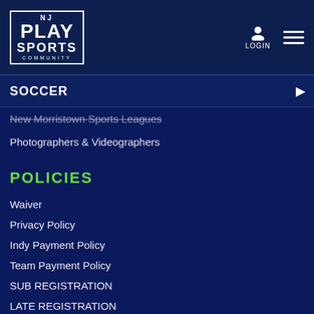NJ PLAY SPORTS COMMUNITY — LOGIN — Menu
SOCCER
New Morristown Sports Leagues
Photographers & Videographers
POLICIES
Waiver
Privacy Policy
Indy Payment Policy
Team Payment Policy
SUB REGISTRATION
LATE REGISTRATION
CORPORATE EVENTS
Team Building Activities